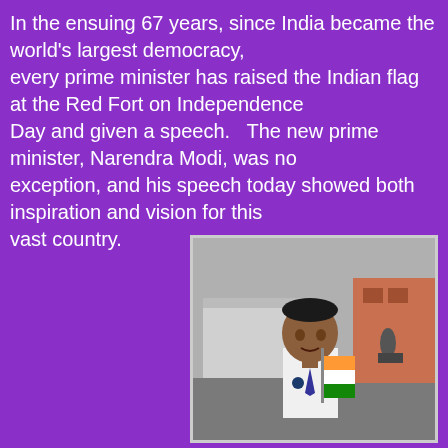In the ensuing 67 years, since India became the world's largest democracy, every prime minister has raised the Indian flag at the Red Fort on Independence Day and given a speech.   The new prime minister, Narendra Modi, was no exception, and his speech today showed both inspiration and vision for this vast country.
[Figure (photo): A young Indian boy in a white school uniform holding a small Indian flag (saffron and white/green), standing on a street. In the background there is a truck covered with a tarpaulin, buildings, and a person on a motorcycle.]